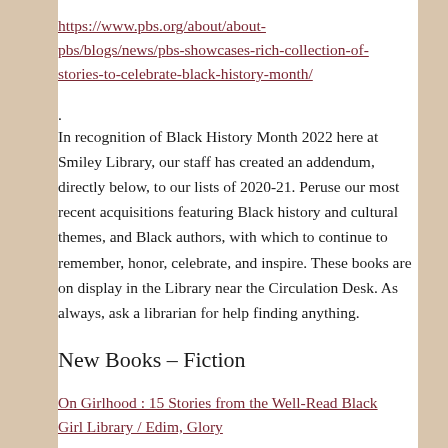https://www.pbs.org/about/about-pbs/blogs/news/pbs-showcases-rich-collection-of-stories-to-celebrate-black-history-month/.
In recognition of Black History Month 2022 here at Smiley Library, our staff has created an addendum, directly below, to our lists of 2020-21. Peruse our most recent acquisitions featuring Black history and cultural themes, and Black authors, with which to continue to remember, honor, celebrate, and inspire. These books are on display in the Library near the Circulation Desk. As always, ask a librarian for help finding anything.
New Books – Fiction
On Girlhood : 15 Stories from the Well-Read Black Girl Library / Edim, Glory